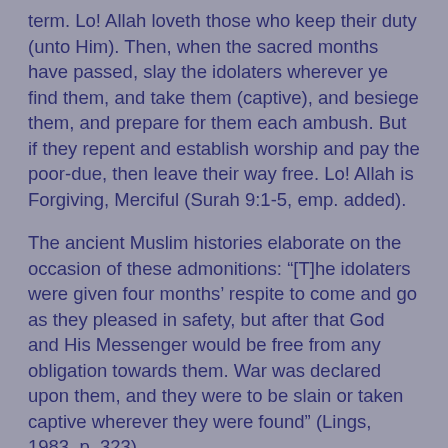term. Lo! Allah loveth those who keep their duty (unto Him). Then, when the sacred months have passed, slay the idolaters wherever ye find them, and take them (captive), and besiege them, and prepare for them each ambush. But if they repent and establish worship and pay the poor-due, then leave their way free. Lo! Allah is Forgiving, Merciful (Surah 9:1-5, emp. added).
The ancient Muslim histories elaborate on the occasion of these admonitions: “[T]he idolaters were given four months’ respite to come and go as they pleased in safety, but after that God and His Messenger would be free from any obligation towards them. War was declared upon them, and they were to be slain or taken captive wherever they were found” (Lings, 1983, p. 323).
Later in the same surah, “Fight against such of those who have been given the Scripture as believe not in Allah nor the Last Day, and forbid not that which Allah hath forbidden by His messenger, and follow not the religion of truth, until they pay the tribute readily, being brought low” (Surah 9:29, emp. added). “Those who have been given the Scripture” is a